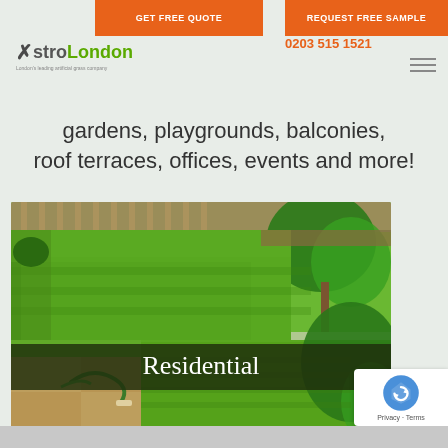GET FREE QUOTE | REQUEST FREE SAMPLE | 0203 515 1521
[Figure (logo): AstroLondon logo with X mark and green London text]
gardens, playgrounds, balconies, roof terraces, offices, events and more!
[Figure (photo): Residential artificial grass garden installation showing bright green artificial turf with garden bed borders, trees, and a hose on patio. Overlaid dark banner reads 'Residential']